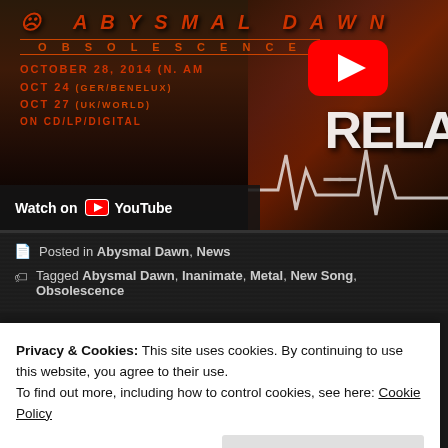[Figure (screenshot): YouTube embedded video thumbnail showing a metal album promotional image. Orange/red text on dark background reads: band name at top, OBSOLESCENCE album name, release dates OCTOBER 28, 2014 (N. AM), OCT 24 (GER/BENELUX), OCT 27 (UK/WORLD), ON CD/LP/DIGITAL. Large YouTube play button visible. Right side has large white 'RELA' text partially visible and a heartbeat/EKG line graphic. Bottom of video area has dark bar with 'Watch on YouTube' text and YouTube logo.]
Posted in Abysmal Dawn, News
Tagged Abysmal Dawn, Inanimate, Metal, New Song, Obsolescence
Privacy & Cookies: This site uses cookies. By continuing to use this website, you agree to their use.
To find out more, including how to control cookies, see here: Cookie Policy
Close and accept